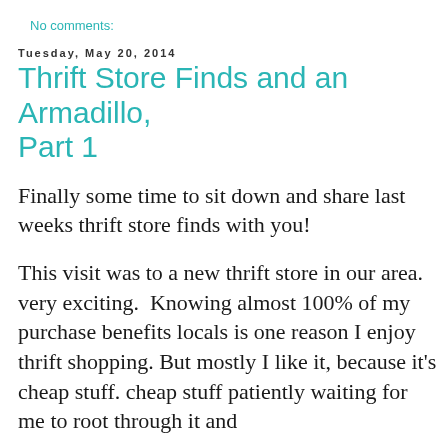No comments:
Tuesday, May 20, 2014
Thrift Store Finds and an Armadillo, Part 1
Finally some time to sit down and share last weeks thrift store finds with you!
This visit was to a new thrift store in our area. very exciting.  Knowing almost 100% of my purchase benefits locals is one reason I enjoy thrift shopping. But mostly I like it, because it's cheap stuff. cheap stuff patiently waiting for me to root through it and